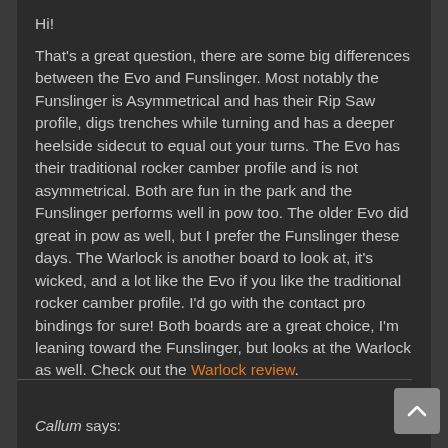Hi!
That's a great question, there are some big differences between the Evo and Funslinger. Most notably the Funslinger is Asymmetrical and has their Rip Saw profile, digs trenches while turning and has a deeper heelside sidecut to equal out your turns. The Evo has their traditional rocker camber profile and is not asymmetrical. Both are fun in the park and the Funslinger performs well in pow too. The older Evo did great in pow as well, but I prefer the Funslinger these days. The Warlock is another board to look at, it's wicked, and a lot like the Evo if you like the traditional rocker camber profile. I'd go with the contact pro bindings for sure! Both boards are a great choice, I'm leaning toward the Funslinger, but looks at the Warlock as well. Check out the Warlock review.
Callum says: